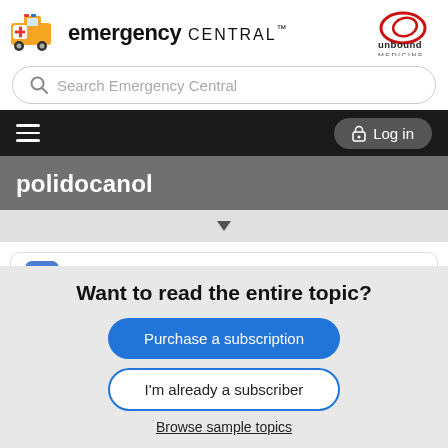[Figure (logo): Emergency Central logo: ambulance icon with orange body and white cross, plus text 'emergency CENTRAL™' in bold, plus Unbound Medicine logo on the right]
Search Emergency Central
[Figure (screenshot): Navigation bar with hamburger menu on left and Log in button on right]
polidocanol
Davis's Drug Guide
Want to read the entire topic?
Purchase a subscription
I'm already a subscriber
Browse sample topics